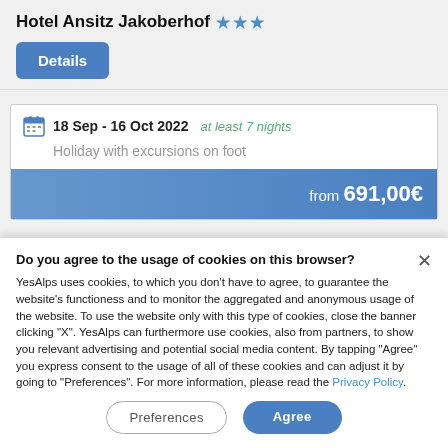Hotel Ansitz Jakoberhof ★ ★ ★
Details
18 Sep - 16 Oct 2022  at least 7 nights
Holiday with excursions on foot
from 691,00€
Do you agree to the usage of cookies on this browser?
YesAlps uses cookies, to which you don't have to agree, to guarantee the website's functioness and to monitor the aggregated and anonymous usage of the website. To use the website only with this type of cookies, close the banner clicking "X". YesAlps can furthermore use cookies, also from partners, to show you relevant advertising and potential social media content. By tapping "Agree" you express consent to the usage of all of these cookies and can adjust it by going to "Preferences". For more information, please read the Privacy Policy.
Preferences
Agree